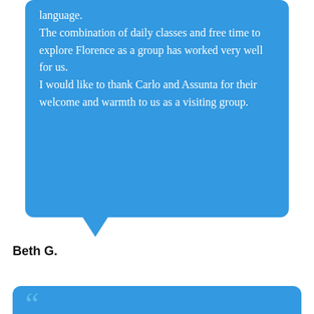language. The combination of daily classes and free time to explore Florence as a group has worked very well for us. I would like to thank Carlo and Assunta for their welcome and warmth to us as a visiting group.
Beth G.
[Figure (infographic): Green WhatsApp button with WhatsApp logo icon. Text reads: CLICK HERE TO SEND A MESSAGE / Chat with us]